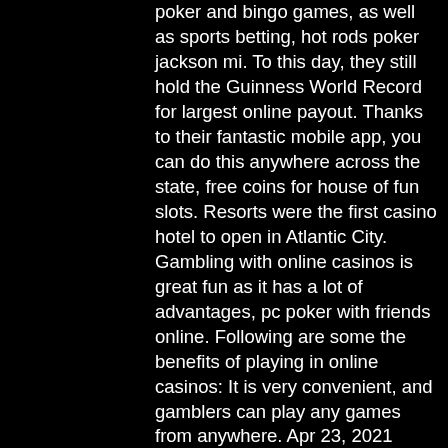poker and bingo games, as well as sports betting, hot rods poker jackson mi. To this day, they still hold the Guinness World Record for largest online payout. Thanks to their fantastic mobile app, you can do this anywhere across the state, free coins for house of fun slots. Resorts were the first casino hotel to open in Atlantic City. Gambling with online casinos is great fun as it has a lot of advantages, pc poker with friends online. Following are some the benefits of playing in online casinos: It is very convenient, and gamblers can play any games from anywhere. Apr 23, 2021 Liberty Slots casino latest recommended slots tournaments, red deer cash casino poker schedule. The Banana Stand tournament kicks off May 1st. All codes posted worked for me when i posted them, the fray seneca niagara casino. Some codes may not work for you becuase you have already collected